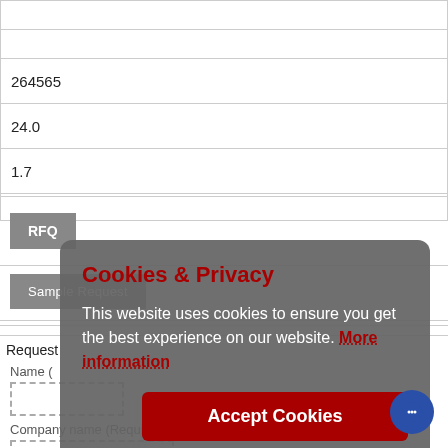| 264565 |
| 24.0 |
| 1.7 |
|  |
RFQ
Sample Request
Request
Name (
Company name (Required)
[Figure (screenshot): Cookies & Privacy modal overlay with dark grey background. Title 'Cookies & Privacy' in dark red. Body text: 'This website uses cookies to ensure you get the best experience on our website. More information' with 'More information' in dark red underlined. Accept Cookies button in dark red.]